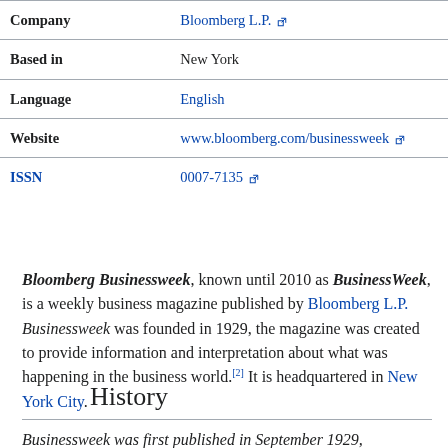|  |  |
| --- | --- |
| Company | Bloomberg L.P. |
| Based in | New York |
| Language | English |
| Website | www.bloomberg.com/businessweek |
| ISSN | 0007-7135 |
Bloomberg Businessweek, known until 2010 as BusinessWeek, is a weekly business magazine published by Bloomberg L.P. Businessweek was founded in 1929, the magazine was created to provide information and interpretation about what was happening in the business world.[2] It is headquartered in New York City.
History
Businessweek was first published in September 1929,